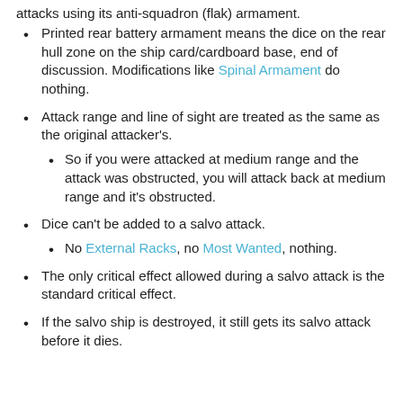attacks using its anti-squadron (flak) armament.
Printed rear battery armament means the dice on the rear hull zone on the ship card/cardboard base, end of discussion. Modifications like Spinal Armament do nothing.
Attack range and line of sight are treated as the same as the original attacker's.
So if you were attacked at medium range and the attack was obstructed, you will attack back at medium range and it's obstructed.
Dice can't be added to a salvo attack.
No External Racks, no Most Wanted, nothing.
The only critical effect allowed during a salvo attack is the standard critical effect.
If the salvo ship is destroyed, it still gets its salvo attack before it dies.